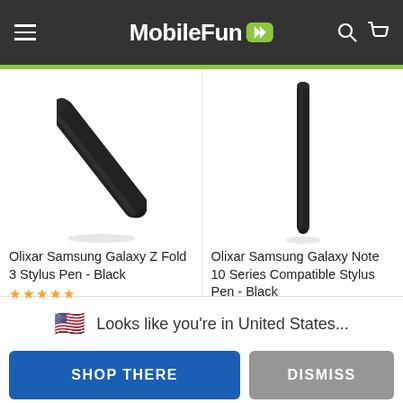MobileFun
[Figure (screenshot): Two stylus pens displayed side by side: left is Olixar Samsung Galaxy Z Fold 3 Stylus Pen - Black (diagonal orientation), right is Olixar Samsung Galaxy Note 10 Series Compatible Stylus Pen - Black (vertical orientation)]
Olixar Samsung Galaxy Z Fold 3 Stylus Pen - Black
Olixar Samsung Galaxy Note 10 Series Compatible Stylus Pen - Black
Looks like you're in United States...
SHOP THERE
DISMISS